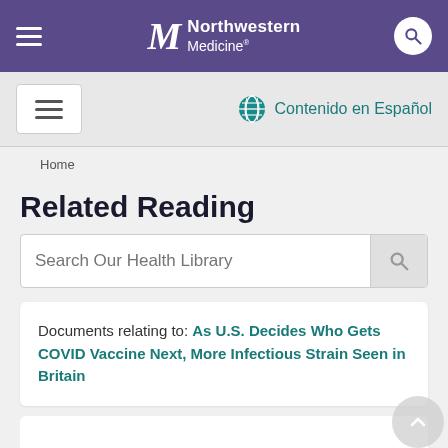Northwestern Medicine
Contenido en Español
Home
Related Reading
Search Our Health Library
Documents relating to: As U.S. Decides Who Gets COVID Vaccine Next, More Infectious Strain Seen in Britain